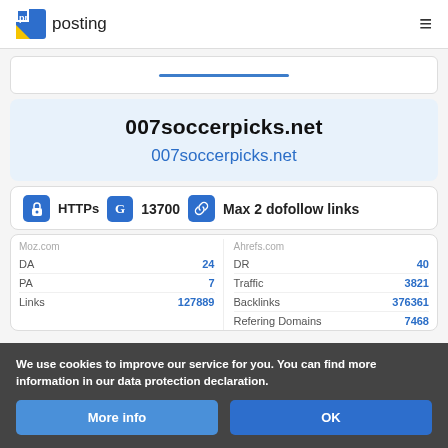pr posting
007soccerpicks.net
007soccerpicks.net
HTTPs  13700  Max 2 dofollow links
| Moz.com | Ahrefs.com |
| --- | --- |
| DR | 24 |
| DR | 40 |
| Traffic | 3821 |
| Backlinks | 376361 |
| Links | 127889 |
| Refering Domains | 7468 |
We use cookies to improve our service for you. You can find more information in our data protection declaration.